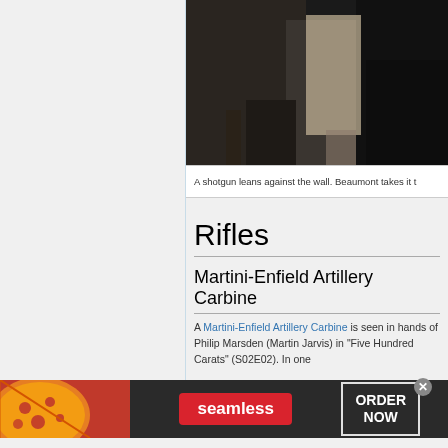[Figure (screenshot): Dark scene from a TV show, indoor setting with dim lighting, a figure visible in background near furniture]
A shotgun leans against the wall. Beaumont takes it t
Rifles
Martini-Enfield Artillery Carbine
A Martini-Enfield Artillery Carbine is seen in hands of Philip Marsden (Martin Jarvis) in "Five Hundred Carats" (S02E02). In one
[Figure (advertisement): Seamless food delivery advertisement banner with pizza images, Seamless logo in red, and ORDER NOW button]